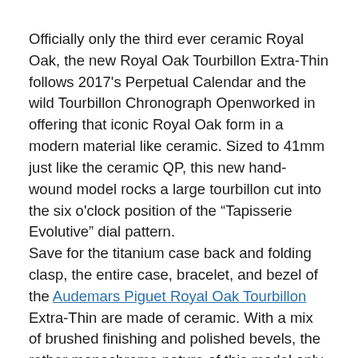Officially only the third ever ceramic Royal Oak, the new Royal Oak Tourbillon Extra-Thin follows 2017's Perpetual Calendar and the wild Tourbillon Chronograph Openworked in offering that iconic Royal Oak form in a modern material like ceramic. Sized to 41mm just like the ceramic QP, this new hand-wound model rocks a large tourbillon cut into the six o'clock position of the “Tapisserie Evolutive” dial pattern. Save for the titanium case back and folding clasp, the entire case, bracelet, and bezel of the Audemars Piguet Royal Oak Tourbillon Extra-Thin are made of ceramic. With a mix of brushed finishing and polished bevels, the rather monochrome nature of this model only works to highlight the tourbillon and ensure the sort of legibility one expects from a Royal Oak.
Also different from its perpetual sibling is the Tourbillon Extra-Thin’s use of a bolder pattern for the dial, which Audemars Piguet calls “Tapisserie Evolutive.” Expanding from a central